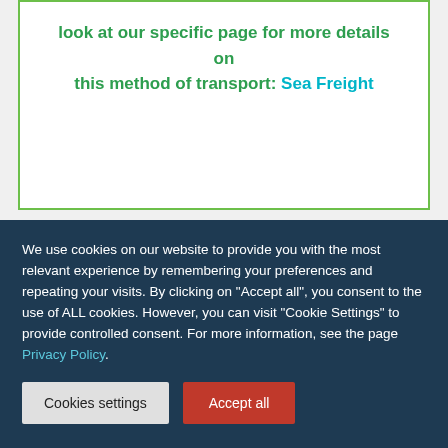look at our specific page for more details on this method of transport: Sea Freight
[Figure (other): Empty white content box with light border]
We use cookies on our website to provide you with the most relevant experience by remembering your preferences and repeating your visits. By clicking on "Accept all", you consent to the use of ALL cookies. However, you can visit "Cookie Settings" to provide controlled consent. For more information, see the page Privacy Policy.